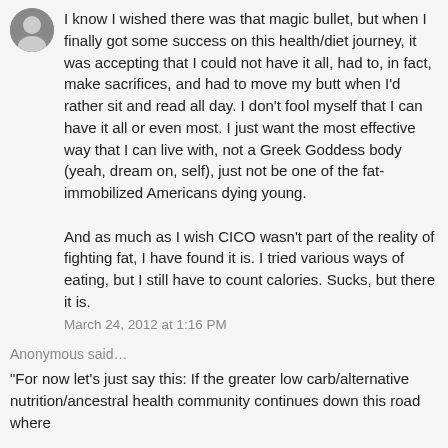[Figure (photo): Circular avatar photo of a person, partially visible at top left]
I know I wished there was that magic bullet, but when I finally got some success on this health/diet journey, it was accepting that I could not have it all, had to, in fact, make sacrifices, and had to move my butt when I'd rather sit and read all day. I don't fool myself that I can have it all or even most. I just want the most effective way that I can live with, not a Greek Goddess body (yeah, dream on, self), just not be one of the fat-immobilized Americans dying young.

And as much as I wish CICO wasn't part of the reality of fighting fat, I have found it is. I tried various ways of eating, but I still have to count calories. Sucks, but there it is.
March 24, 2012 at 1:16 PM
Anonymous said…
"For now let's just say this: If the greater low carb/alternative nutrition/ancestral health community continues down this road where